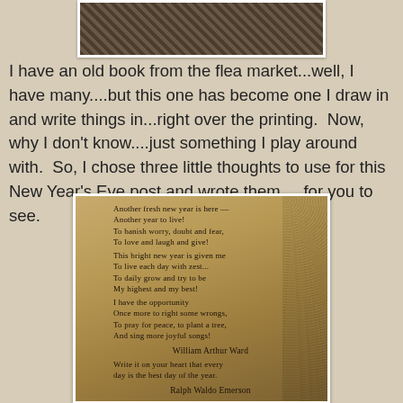[Figure (photo): Partial photo of a book with lace/doily background, top portion visible]
I have an old book from the flea market...well, I have many....but this one has become one I draw in and write things in...right over the printing.  Now, why I don't know....just something I play around with.  So, I chose three little thoughts to use for this New Year's Eve post and wrote them.....for you to see.
[Figure (photo): Photo of an open old book with handwritten cursive text over the printed pages, showing poems including one attributed to William Arthur Ward and a quote attributed to Ralph Waldo Emerson: 'Write it on your heart that every day is the best day of the year.']